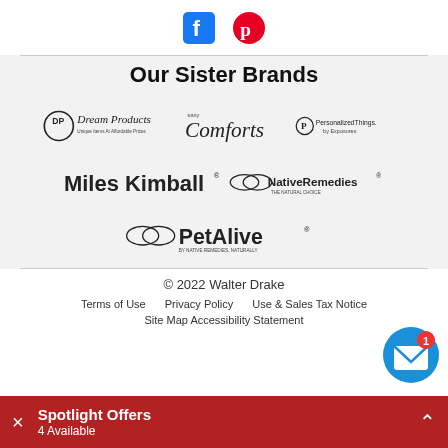[Figure (logo): Facebook and Pinterest social media icons]
Our Sister Brands
[Figure (logo): Dream Products logo - Unique Items At Affordable Prices]
[Figure (logo): Easy Comforts logo]
[Figure (logo): PersonalizedThings by Exposures logo]
[Figure (logo): Miles Kimball logo]
[Figure (logo): NativeRemedies The Natural Choice logo]
[Figure (logo): PetAlive by Native Remedies Naturally logo]
© 2022 Walter Drake
Terms of Use   Privacy Policy   Use & Sales Tax Notice
Site Map   Accessibility Statement
Spotlight Offers
4 Available